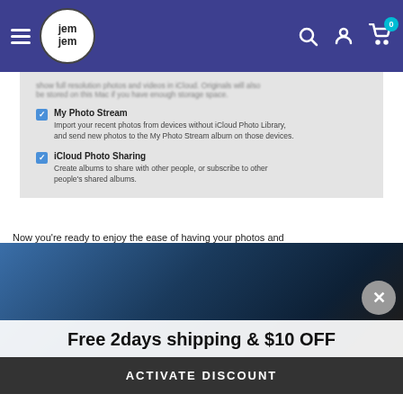JemJem navigation bar with logo, hamburger menu, search, account and cart icons
[Figure (screenshot): macOS iCloud Photos settings panel showing checkboxes for My Photo Stream and iCloud Photo Sharing options]
Now you're ready to enjoy the ease of having your photos and
[Figure (photo): Dark background keyboard/laptop photo]
Free 2days shipping & $10 OFF
ACTIVATE DISCOUNT